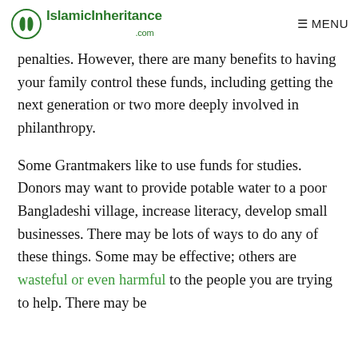IslamicInheritance.com — MENU
penalties.  However, there are many benefits to having your family control these funds, including getting the next generation or two more deeply involved in philanthropy.
Some Grantmakers like to use funds for studies.  Donors may want to provide potable water to a poor Bangladeshi village,  increase literacy, develop small businesses.  There may be lots of ways to do any of these things.  Some may be effective; others are wasteful or even harmful to the people you are trying to help.  There may be